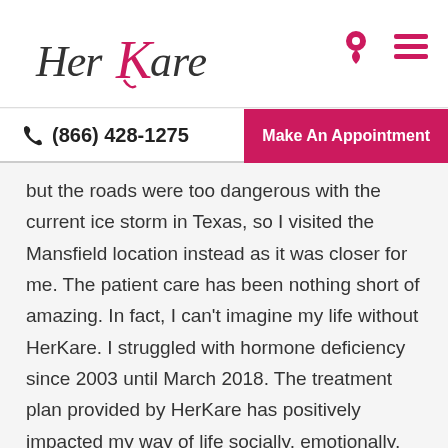[Figure (logo): HerKare logo in cursive script with a pink stylized K]
(866) 428-1275   Make An Appointment
but the roads were too dangerous with the current ice storm in Texas, so I visited the Mansfield location instead as it was closer for me. The patient care has been nothing short of amazing. In fact, I can't imagine my life without HerKare. I struggled with hormone deficiency since 2003 until March 2018. The treatment plan provided by HerKare has positively impacted my way of life socially, emotionally, and physically. One of my closest friends now drives from